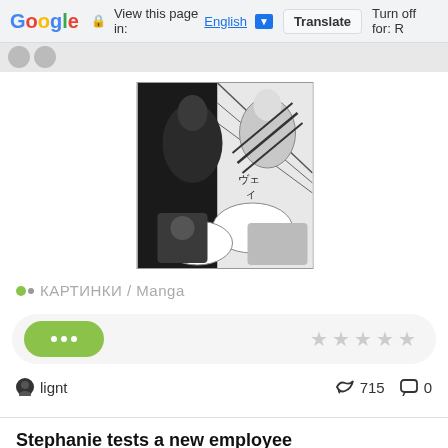Google  View this page in: English [▼]  Translate  Turn off for: R
[Figure (illustration): Black and white manga/comic page excerpt with Japanese text and action scene]
КАРТИНКИ / Manga
... ☆ ☆ ☆ ☆ ☆
lignt   715   0
Stephanie tests a new employee
28/02/2022 15:34